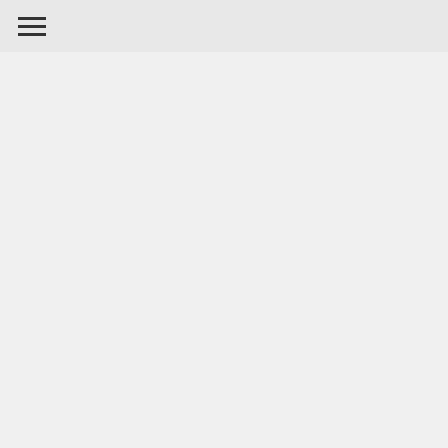their defence budget is almost the same as that of the UK and